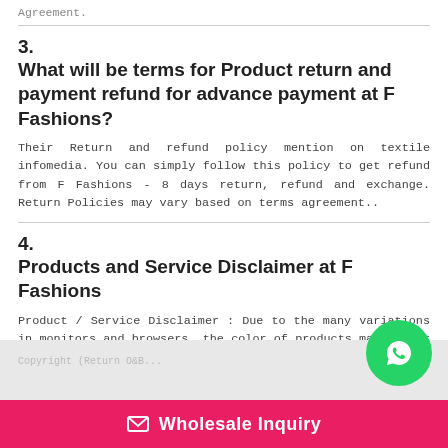Agreement.
3. What will be terms for Product return and payment refund for advance payment at F Fashions?
Their Return and refund policy mention on textile infomedia. You can simply follow this policy to get refund from F Fashions - 8 days return, refund and exchange. Return Policies may vary based on terms agreement..
4. Products and Service Disclaimer at F Fashions
Product / Service Disclaimer : Due to the many variations in monitors and browsers, the color of products may appear different on different monitors.
[Figure (logo): WhatsApp icon button (green circle with white phone/message icon)]
Wholesale Inquiry